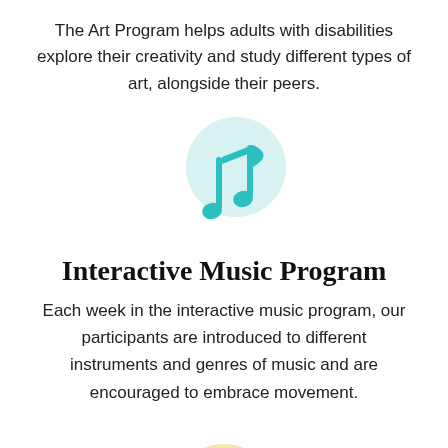The Art Program helps adults with disabilities explore their creativity and study different types of art, alongside their peers.
[Figure (illustration): Teal musical note icon on a light teal circular background]
Interactive Music Program
Each week in the interactive music program, our participants are introduced to different instruments and genres of music and are encouraged to embrace movement.
[Figure (illustration): Partial view of a light yellow/peach circular background with a small icon at the bottom of the page]